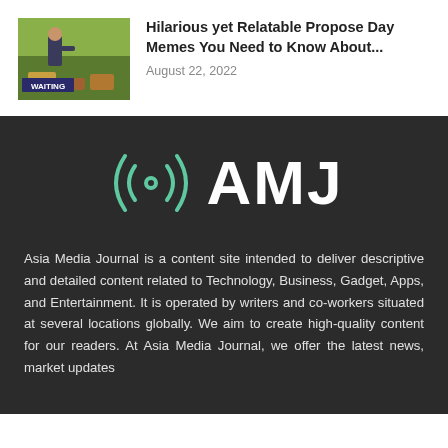[Figure (photo): Thumbnail image of a man waiting, with text overlay 'WAITING']
Hilarious yet Relatable Propose Day Memes You Need to Know About...
August 22, 2022
[Figure (logo): AMJ Asia Media Journal logo with radio wave signal icon in teal and white text AMJ on dark background]
Asia Media Journal is a content site intended to deliver descriptive and detailed content related to Technology, Business, Gadget, Apps, and Entertainment. It is operated by writers and co-workers situated at several locations globally. We aim to create high-quality content for our readers. At Asia Media Journal, we offer the latest news, market updates